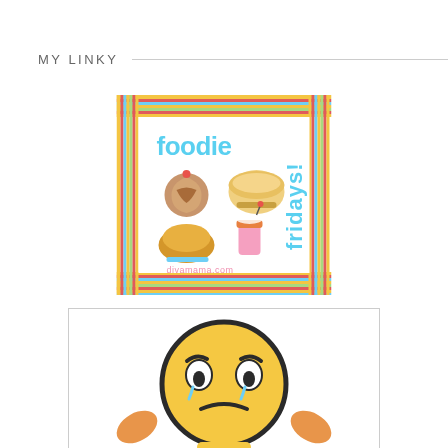MY LINKY
[Figure (illustration): Foodie Fridays badge with colorful stripes border, food emoji illustrations (cinnamon roll, bowl of soup, roasted chicken, milkshake), text 'foodie fridays!' in blue and 'divamama.com' in pink]
[Figure (illustration): Yellow emoji face with worried/stressed expression, hands on head, frowning mouth, shown from top of head to mid-torso on white background with light gray border]